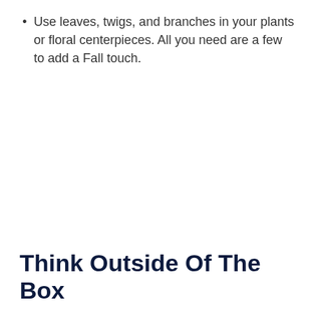Use leaves, twigs, and branches in your plants or floral centerpieces. All you need are a few to add a Fall touch.
Think Outside Of The Box